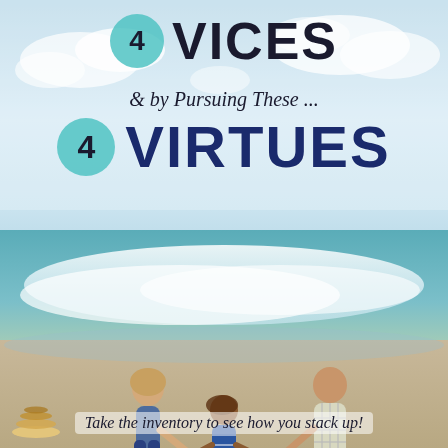[Figure (photo): Family of three (mother, father, young daughter) holding hands on a beach, viewed from behind, with waves crashing around them. Sky is bright with clouds.]
4 VICES
& by Pursuing These ...
4 VIRTUES
Take the inventory to see how you stack up!